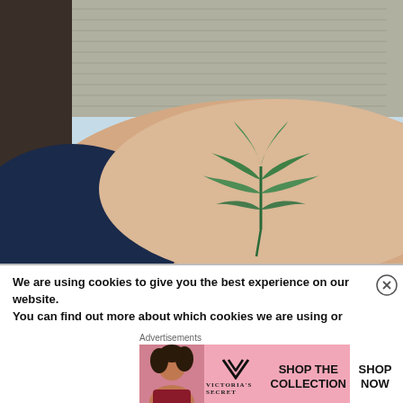[Figure (photo): Close-up photo showing a person's shoulder/upper arm with a green cannabis leaf tattoo. The person is wearing a grey knit sweater and a dark navy top underneath. The background shows a bit of blue sky.]
We are using cookies to give you the best experience on our website.
You can find out more about which cookies we are using or
Advertisements
[Figure (infographic): Victoria's Secret advertisement banner. Shows a model with curly hair on the left, the VS logo in the center with 'VICTORIA'S SECRET' text, 'SHOP THE COLLECTION' text, and a white 'SHOP NOW' button on the right. Pink background.]